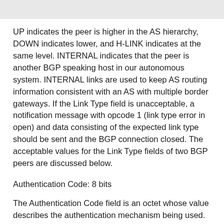UP indicates the peer is higher in the AS hierarchy, DOWN indicates lower, and H-LINK indicates at the same level. INTERNAL indicates that the peer is another BGP speaking host in our autonomous system. INTERNAL links are used to keep AS routing information consistent with an AS with multiple border gateways. If the Link Type field is unacceptable, a notification message with opcode 1 (link type error in open) and data consisting of the expected link type should be sent and the BGP connection closed. The acceptable values for the Link Type fields of two BGP peers are discussed below.
Authentication Code: 8 bits
The Authentication Code field is an octet whose value describes the authentication mechanism being used. A value of zero indicates no BGP authentication. Note that a separate authentication mechanism may be used in establishing the transport level connection. If the